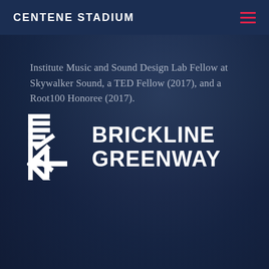CENTENE STADIUM
Institute Music and Sound Design Lab Fellow at Skywalker Sound, a TED Fellow (2017), and a Root100 Honoree (2017).
[Figure (logo): Brickline Greenway logo with stacked bar/asterisk icon on the left and bold text BRICKLINE GREENWAY on the right, white on dark navy background]